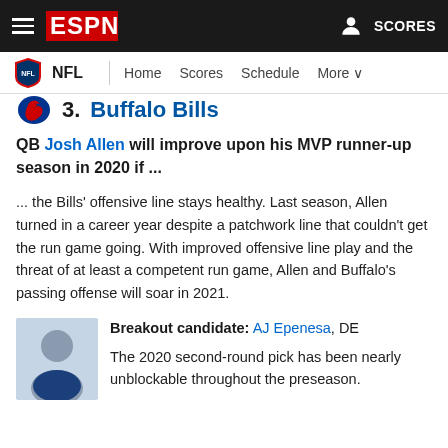ESPN — NFL | Home | Scores | Schedule | More
3. Buffalo Bills
QB Josh Allen will improve upon his MVP runner-up season in 2020 if ...
... the Bills' offensive line stays healthy. Last season, Allen turned in a career year despite a patchwork line that couldn't get the run game going. With improved offensive line play and the threat of at least a competent run game, Allen and Buffalo's passing offense will soar in 2021.
Breakout candidate: AJ Epenesa, DE
The 2020 second-round pick has been nearly unblockable throughout the preseason.